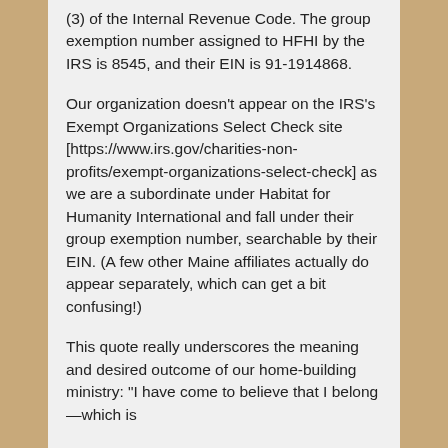(3) of the Internal Revenue Code. The group exemption number assigned to HFHI by the IRS is 8545, and their EIN is 91-1914868.
Our organization doesn't appear on the IRS's Exempt Organizations Select Check site [https://www.irs.gov/charities-non-profits/exempt-organizations-select-check] as we are a subordinate under Habitat for Humanity International and fall under their group exemption number, searchable by their EIN. (A few other Maine affiliates actually do appear separately, which can get a bit confusing!)
This quote really underscores the meaning and desired outcome of our home-building ministry: "I have come to believe that I belong—which is